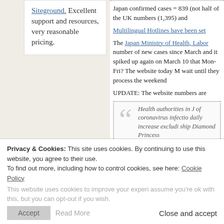Siteground. Excellent support and resources, very reasonable pricing.
Japan confirmed cases = 839 (not half of the UK numbers (1,395) and...
Multilingual Hotlines have been set...
The Japan Ministry of Health, Labor... number of new cases since March... and it spiked up again on March 10... that Mon-Fri? The website today M... wait until they process the weekend...
UPDATE: The website numbers are...
Health authorities in J... of coronavirus infectio... daily increase excludi... ship Diamond Princess...
The officials say the m... the country reached 7...
Privacy & Cookies: This site uses cookies. By continuing to use this website, you agree to their use.
To find out more, including how to control cookies, see here: Cookie Policy
This website uses cookies to improve your experience. We'll assume you're ok with this, but you can opt-out if you wish.